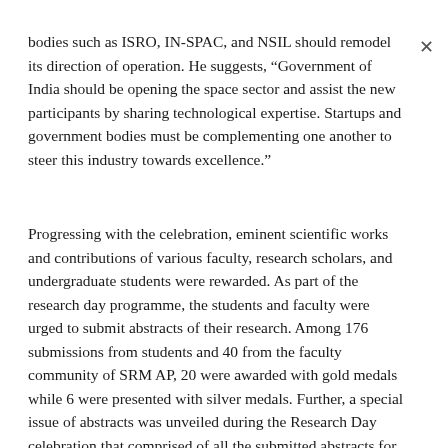bodies such as ISRO, IN-SPAC, and NSIL should remodel its direction of operation. He suggests, “Government of India should be opening the space sector and assist the new participants by sharing technological expertise. Startups and government bodies must be complementing one another to steer this industry towards excellence.”
Progressing with the celebration, eminent scientific works and contributions of various faculty, research scholars, and undergraduate students were rewarded. As part of the research day programme, the students and faculty were urged to submit abstracts of their research. Among 176 submissions from students and 40 from the faculty community of SRM AP, 20 were awarded with gold medals while 6 were presented with silver medals. Further, a special issue of abstracts was unveiled during the Research Day celebration that comprised of all the submitted abstracts for public consumption.